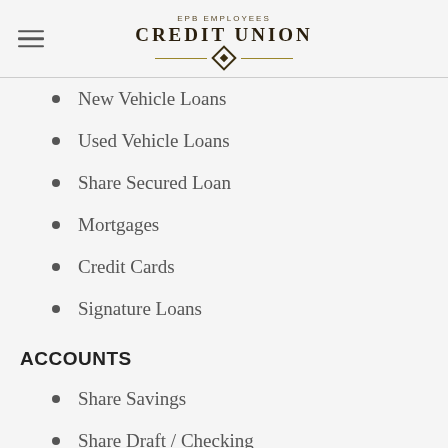EPB EMPLOYEES CREDIT UNION
New Vehicle Loans
Used Vehicle Loans
Share Secured Loan
Mortgages
Credit Cards
Signature Loans
ACCOUNTS
Share Savings
Share Draft / Checking
Club Savings